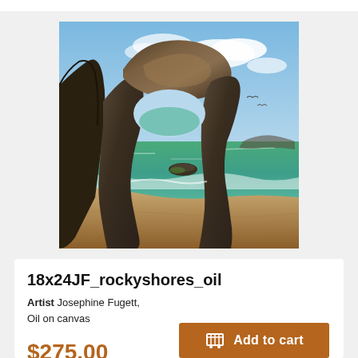[Figure (photo): Oil painting of rocky coastal scene with a natural rock arch formation over ocean water, sandy beach in foreground, blue sky with clouds and seagulls in background]
18x24JF_rockyshores_oil
Artist Josephine Fugett, Oil on canvas
$275.00
Add to cart